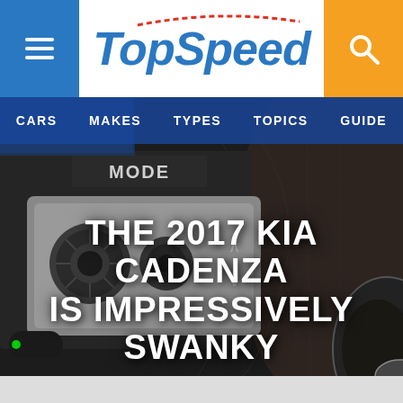TopSpeed — CARS  MAKES  TYPES  TOPICS  GUIDE
[Figure (photo): Close-up interior photo of a Kia Cadenza showing the steering wheel controls, a MODE dial/knob panel with up/down arrows, and black leather interior. The background fills the hero section.]
THE 2017 KIA CADENZA IS IMPRESSIVELY SWANKY